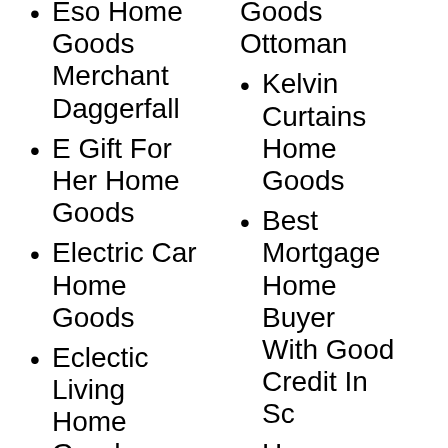Eso Home Goods Merchant Daggerfall
E Gift For Her Home Goods
Electric Car Home Goods
Eclectic Living Home Goods
Eso Home
Goods Ottoman
Kelvin Curtains Home Goods
Best Mortgage Home Buyer With Good Credit In Sc
Home Goods